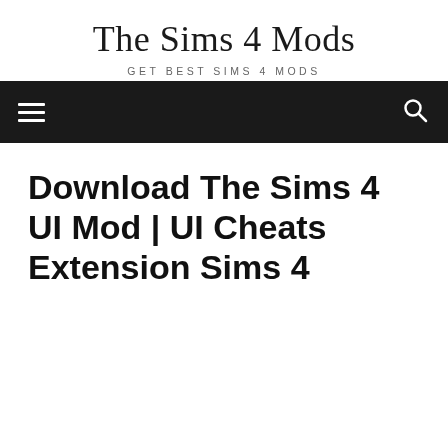The Sims 4 Mods
Get Best Sims 4 Mods
[Figure (infographic): Navigation bar with hamburger menu icon on the left and search icon on the right, dark/black background]
Download The Sims 4 UI Mod | UI Cheats Extension Sims 4